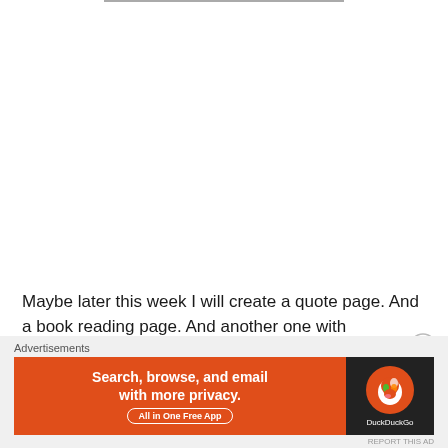Maybe later this week I will create a quote page. And a book reading page. And another one with comments about
[Figure (other): Close/dismiss button (X circle icon) in the upper right area of an advertisement overlay]
Advertisements
[Figure (other): DuckDuckGo advertisement banner: left orange section reads 'Search, browse, and email with more privacy. All in One Free App'; right dark section shows DuckDuckGo duck logo and brand name]
REPORT THIS AD